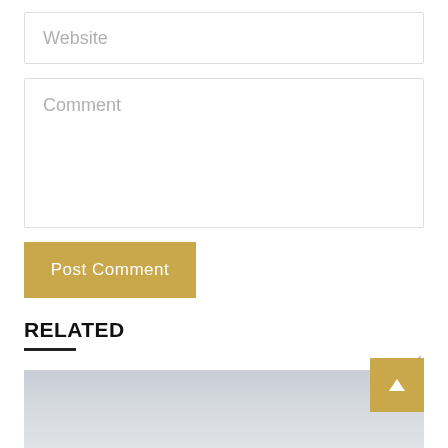Website
Comment
Post Comment
RELATED
[Figure (photo): Outdoor landscape photo with overcast sky, light grey tones, partially visible at bottom of page]